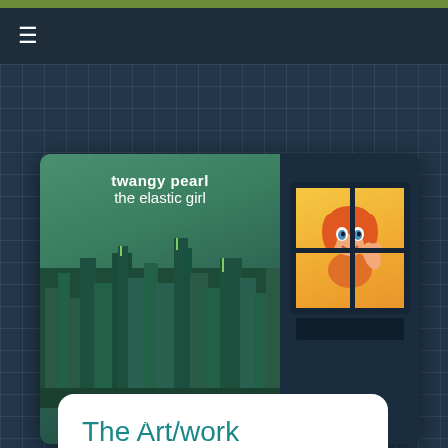[Figure (illustration): Book cover for 'twangy pearl the elastic girl - an illustrated guide' showing a green cityscape skyline on the left panel and a cartoon girl peeking through a window on the right panel, set against a dark navy grid background with a hamburger menu icon at top left and an olive/yellow top bar.]
The Art/work
feast